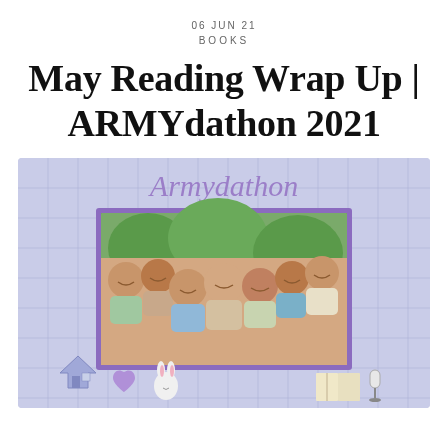06 JUN 21
BOOKS
May Reading Wrap Up | ARMYdathon 2021
[Figure (photo): Armydathon promotional image featuring a group photo of BTS members (seven men posing together outdoors) inside a purple frame, on a light purple grid background, with cute icons at the bottom including a house, purple heart, white bunny, open book, and microphone sticker.]